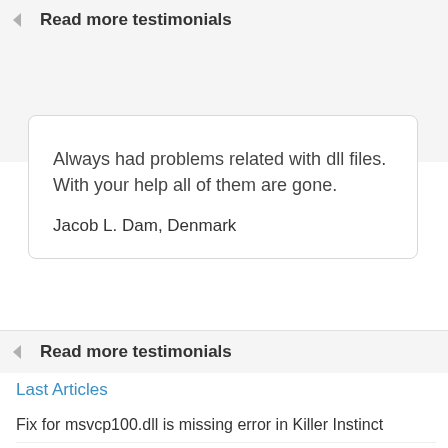Read more testimonials
Always had problems related with dll files. With your help all of them are gone.

Jacob L. Dam, Denmark
Read more testimonials
Last Articles
Fix for msvcp100.dll is missing error in Killer Instinct
How to fix opencl.dll is missing error in Windows 10
Fixing api-ms-win-crt-runtime-l1-1-0.dll is missing error